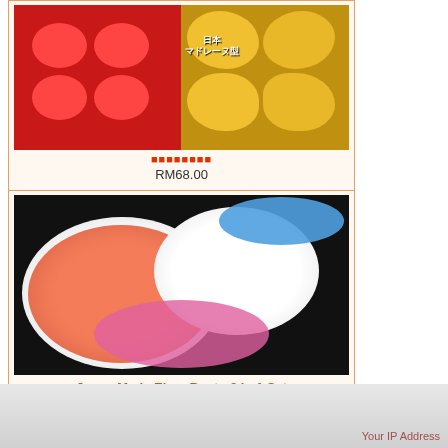[Figure (photo): Silicone mold product image — red silicone mold on left, golden cookie/madeleine shapes on right with Japanese text]
RM68.00
[Figure (photo): Japan Made Elmo Bento 3 in 1 Set — white oval plates with Elmo / Sesame Street characters on dark background]
Japan Made Elmo Bento 3 in 1 Set
RM55.00
Information
Shipping & Returns
Privacy Notice
FAQ
Contact Us
Site Map
Gift Certificate FAQ
Newsletter Unsubscribe
Your IP Address